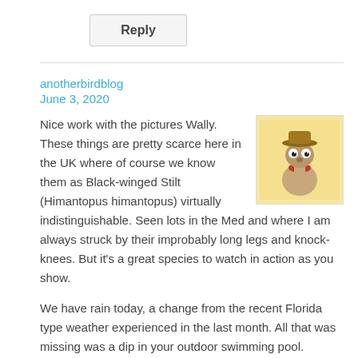Reply
anotherbirdblog
June 3, 2020
[Figure (photo): Avatar image of a cartoon/figurine character (E.T.-like figure) with a hat, on a yellow background]
Nice work with the pictures Wally. These things are pretty scarce here in the UK where of course we know them as Black-winged Stilt (Himantopus himantopus) virtually indistinguishable. Seen lots in the Med and where I am always struck by their improbably long legs and knock-knees. But it's a great species to watch in action as you show.

We have rain today, a change from the recent Florida type weather experienced in the last month. All that was missing was a dip in your outdoor swimming pool.

Take care you both.